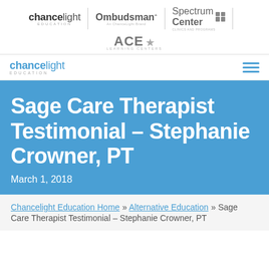[Figure (logo): ChanceLight Education, Ombudsman, Spectrum Center, and ACE Learning Centers logos in top brand bar]
[Figure (logo): ChanceLight Education navigation logo with hamburger menu icon]
Sage Care Therapist Testimonial – Stephanie Crowner, PT
March 1, 2018
Chancelight Education Home » Alternative Education » Sage Care Therapist Testimonial – Stephanie Crowner, PT